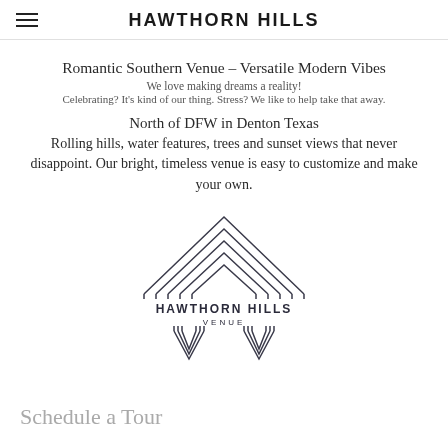HAWTHORN HILLS
Romantic Southern Venue – Versatile Modern Vibes
We love making dreams a reality!
Celebrating? It's kind of our thing. Stress? We like to help take that away.
North of DFW in Denton Texas
Rolling hills, water features, trees and sunset views that never disappoint. Our bright, timeless venue is easy to customize and make your own.
[Figure (logo): Hawthorn Hills Venue logo: geometric chevron/arch shapes above and below the text HAWTHORN HILLS VENUE]
Schedule a Tour